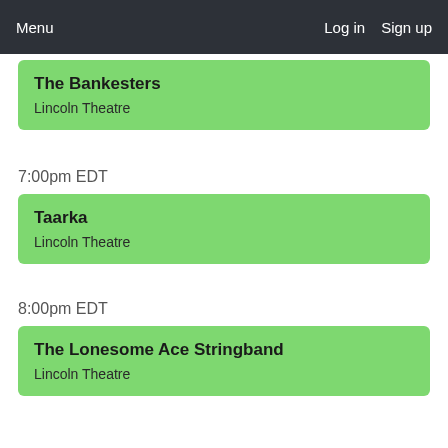Menu   Log in   Sign up
The Bankesters
Lincoln Theatre
7:00pm EDT
Taarka
Lincoln Theatre
8:00pm EDT
The Lonesome Ace Stringband
Lincoln Theatre